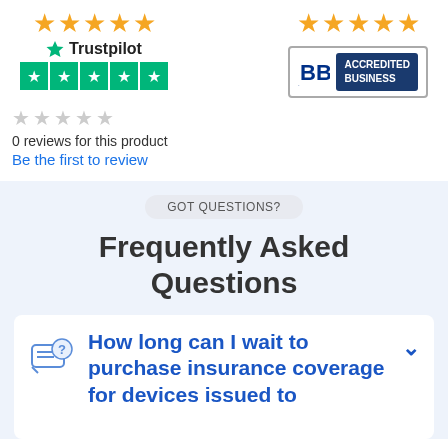[Figure (logo): Trustpilot logo with 5 yellow stars above and 5 green star rating boxes below]
[Figure (logo): BBB Accredited Business badge with 5 yellow stars above]
0 reviews for this product
Be the first to review
GOT QUESTIONS?
Frequently Asked Questions
How long can I wait to purchase insurance coverage for devices issued to